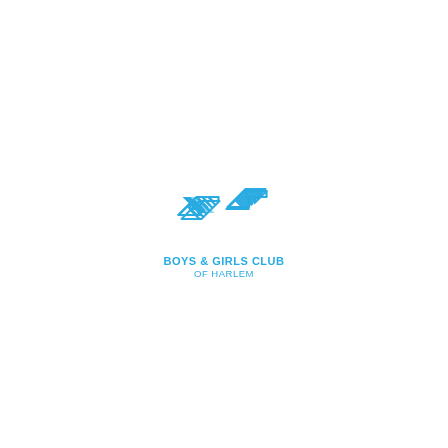[Figure (logo): Boys & Girls Club of Harlem logo — a light blue stylized double-arrow/hands icon with diagonal stripe fill, above the text 'BOYS & GIRLS CLUB OF HARLEM' in light blue bold caps]